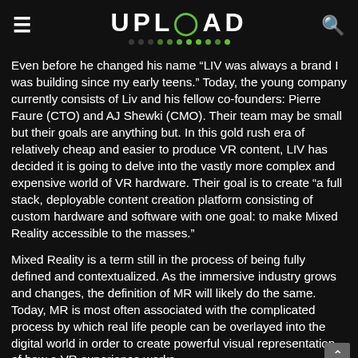UPLOAD
Even before he changed his name “LIV was always a brand I was building since my early teens.” Today, the young company currently consists of Liv and his fellow co-founders: Pierre Faure (CTO) and AJ Shewki (CMO). Their team may be small but their goals are anything but. In this gold rush era of relatively cheap and easier to produce VR content, LIV has decided it is going to delve into the vastly more complex and expensive world of VR hardware. Their goal is to create “a full stack, deployable content creation platform consisting of custom hardware and software with one goal: to make Mixed Reality accessible to the masses.”
Mixed Reality is a term still in the process of being fully defined and contextualized. As the immersive industry grows and changes, the definition of MR will likely do the same. Today, MR is most often associated with the complicated process by which real life people can be overlayed into the digital world in order to create powerful visual representation of how a VR experience works.